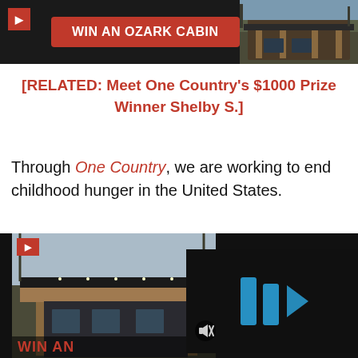[Figure (screenshot): Dark banner advertisement with red logo icon, red button reading 'WIN AN OZARK CABIN', and a photo of a cabin on the right.]
[RELATED: Meet One Country's $1000 Prize Winner Shelby S.]
Through One Country, we are working to end childhood hunger in the United States.
[Figure (screenshot): Media block showing cabin photo with 'WIN AN' text overlay and a dark video panel with blue play icon and mute control.]